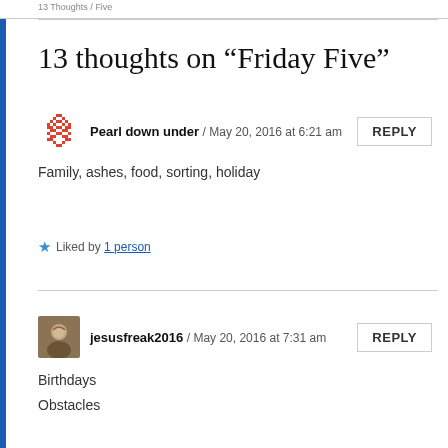13 Thoughts on Friday Five
13 thoughts on “Friday Five”
Pearl down under / May 20, 2016 at 6:21 am
Family, ashes, food, sorting, holiday
Liked by 1 person
jesusfreak2016 / May 20, 2016 at 7:31 am
Birthdays
Obstacles